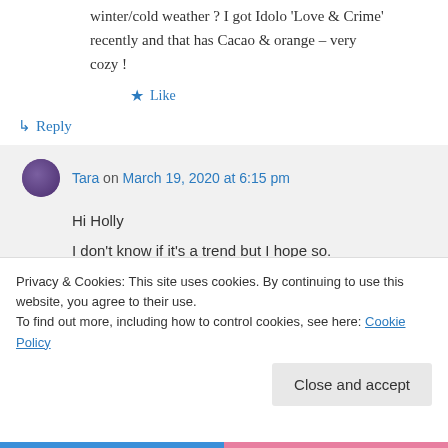winter/cold weather ? I got Idolo 'Love & Crime' recently and that has Cacao & orange – very cozy !
★ Like
↳ Reply
Tara on March 19, 2020 at 6:15 pm
Hi Holly
I don't know if it's a trend but I hope so.
Privacy & Cookies: This site uses cookies. By continuing to use this website, you agree to their use.
To find out more, including how to control cookies, see here: Cookie Policy
Close and accept